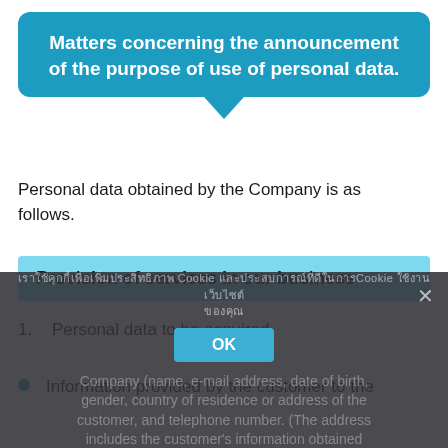Matters concerning the announcement of the purpose of use of personal data.
Personal data obtained by the Company is as follows.
Provision of services in our business
1. Personal data to be acquired
Information provided by the customer to the Company (name, e-mail address, date of birth, gender, country of residence or address of the customer, and telephone number. (The address includes the customer's information obtained
[Cookie consent overlay in Thai] Cookie [Thai text] Cookie [Thai text] OK